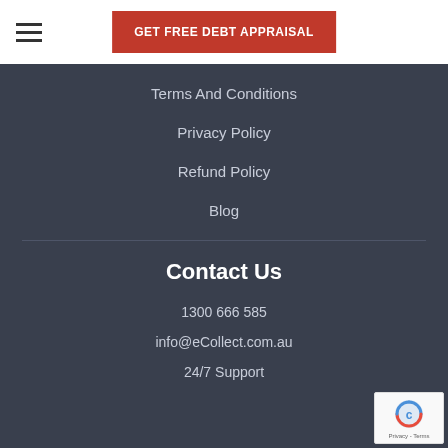GET FREE DEBT APPRAISAL
Terms And Conditions
Privacy Policy
Refund Policy
Blog
Contact Us
1300 666 585
info@eCollect.com.au
24/7 Support